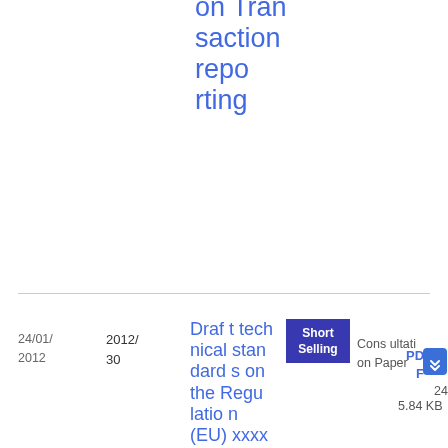on Transaction reporting
| Date | Ref | Title | Tag | Type | File |
| --- | --- | --- | --- | --- | --- |
| 24/01/2012 | 2012/30 | Draft technical standards on the Regulation (EU) xxxx/2012 of | Short Selling | Consultation Paper | PDF 24 5.84 KB |